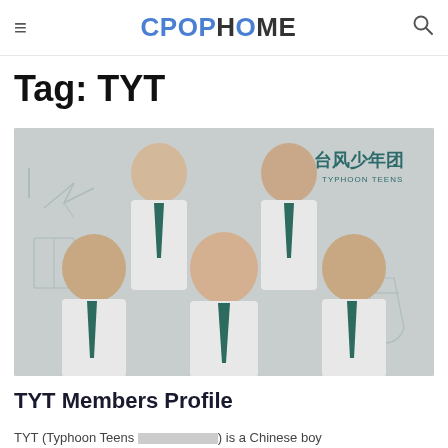CPOP HOME
Tag: TYT
[Figure (photo): Group photo of five young male members of TYT (Typhoon Teens / 台风少年团) wearing white shirts with dark green bow ties and dark belts, posed in two rows against a light grey background with hand-drawn school-themed doodles. Chinese text 台风少年团 and English text TYPHOON TEENS appear in the upper right.]
TYT Members Profile
TYT (Typhoon Teens 台风少年团) is a Chinese boy...